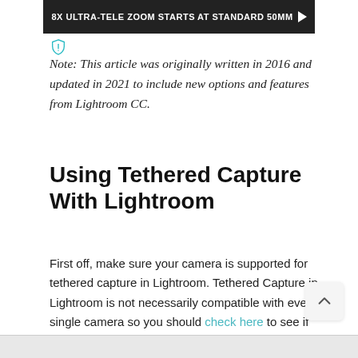[Figure (other): Advertisement banner: '8X ULTRA-TELE ZOOM STARTS AT STANDARD 50MM' with play button on dark background]
Note: This article was originally written in 2016 and updated in 2021 to include new options and features from Lightroom CC.
Using Tethered Capture With Lightroom
First off, make sure your camera is supported for tethered capture in Lightroom. Tethered Capture in Lightroom is not necessarily compatible with every single camera so you should check here to see if your camera is compatible first. If you find that it is not working, be sure that your camera is actually supported via LR for this feature. I'm using my Canon 5D Mark III and it is compatible.